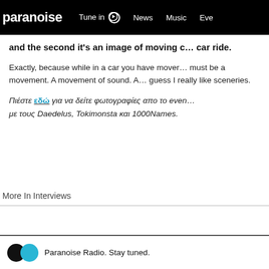paranoise | Tune in ▶ | News | Music | Eve…
and the second it's an image of moving c… car ride.
Exactly, because while in a car you have mover… must be a movement. A movement of sound. A… guess I really like sceneries.
Πιέστε εδώ για να δείτε φωτογραφίες απο το even… με τους Daedelus, Tokimonsta και 1000Names.
More In Interviews
Paranoise Radio. Stay tuned.